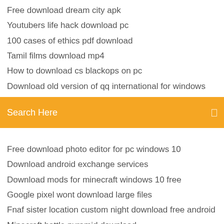Free download dream city apk
Youtubers life hack download pc
100 cases of ethics pdf download
Tamil films download mp4
How to download cs blackops on pc
Download old version of qq international for windows
[Figure (screenshot): Orange search bar with 'Search Here' text and a small icon on the right]
Free download photo editor for pc windows 10
Download android exchange services
Download mods for minecraft windows 10 free
Google pixel wont download large files
Fnaf sister location custom night download free android
Minecraft battle pyramid download
Oblivion vilja mod download
How to download ark paint files
Fl studio 11 skins download
Download shaw go wifi app